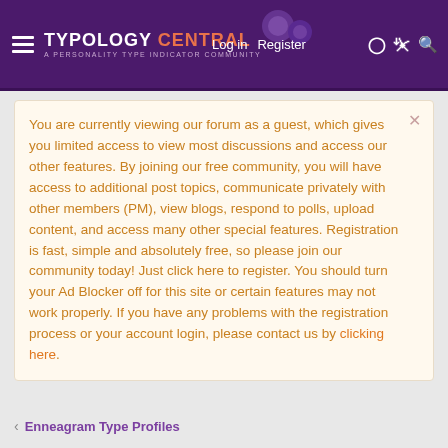Typology Central — A Personality Type Indicator Community | Log in | Register
You are currently viewing our forum as a guest, which gives you limited access to view most discussions and access our other features. By joining our free community, you will have access to additional post topics, communicate privately with other members (PM), view blogs, respond to polls, upload content, and access many other special features. Registration is fast, simple and absolutely free, so please join our community today! Just click here to register. You should turn your Ad Blocker off for this site or certain features may not work properly. If you have any problems with the registration process or your account login, please contact us by clicking here.
< Enneagram Type Profiles